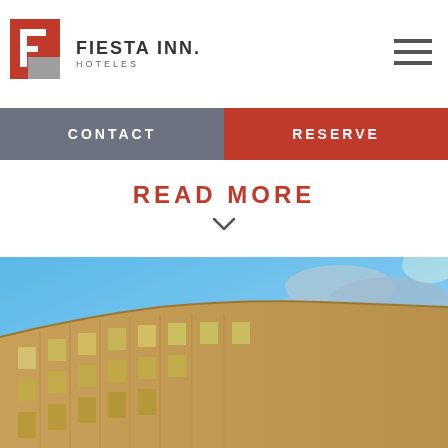[Figure (logo): Fiesta Inn Hoteles logo with red F icon and text]
CONTACT | RESERVE
READ MORE
[Figure (photo): Exterior photo of Fiesta Inn hotel building with curved facade against blue sky with clouds]